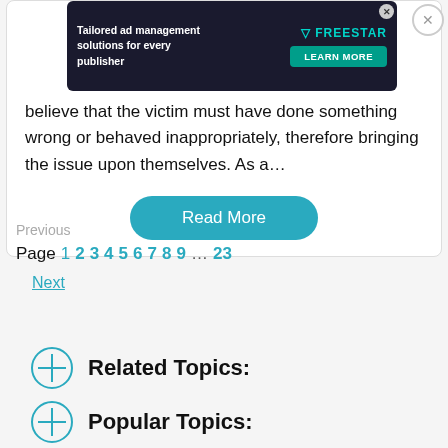[Figure (screenshot): Dark advertisement banner for Freestar tailored ad management solutions, with a 'Learn More' button and an X close button]
believe that the victim must have done something wrong or behaved inappropriately, therefore bringing the issue upon themselves. As a…
Read More
Previous
Page 1 2 3 4 5 6 7 8 9 … 23
Next
Related Topics:
Popular Topics: